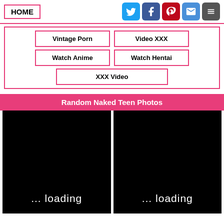HOME | Social share icons
Vintage Porn
Video XXX
Watch Anime
Watch Hentai
XXX Video
Random Naked Teen Photos
[Figure (photo): Black loading placeholder image left]
[Figure (photo): Black loading placeholder image right]